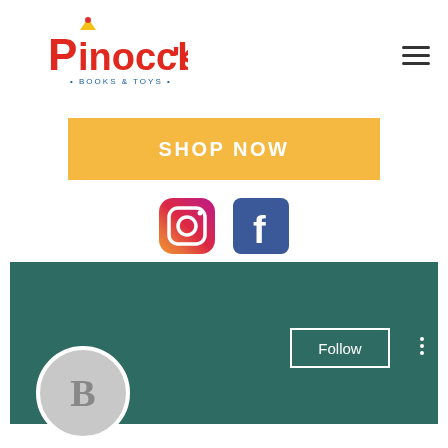[Figure (logo): Pinocchio's Books & Toys logo with colorful text and character]
[Figure (illustration): Hamburger menu icon (three horizontal lines)]
SHOP NOW
[Figure (logo): Instagram icon]
[Figure (logo): Facebook icon]
[Figure (screenshot): Teal profile banner with Follow button and three-dot menu]
[Figure (illustration): Grey circle avatar with letter B]
Bitstarz casino 20 free spins
0 Followers • 0 Following